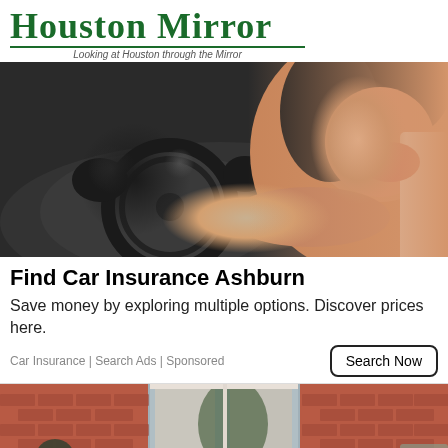Houston Mirror — Looking at Houston through the Mirror
[Figure (photo): Woman smiling and leaning over a car dashboard/steering wheel, interior of a car]
Find Car Insurance Ashburn
Save money by exploring multiple options. Discover prices here.
Car Insurance | Search Ads | Sponsored
[Figure (photo): Workers doing window or exterior work on a red brick house, two men visible near window]